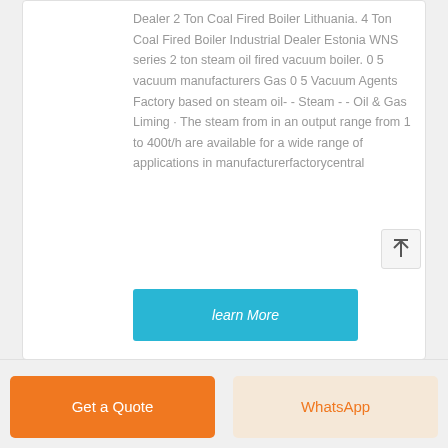Dealer 2 Ton Coal Fired Boiler Lithuania. 4 Ton Coal Fired Boiler Industrial Dealer Estonia WNS series 2 ton steam oil fired vacuum boiler. 0 5 vacuum manufacturers Gas 0 5 Vacuum Agents Factory based on steam oil- - Steam - - Oil & Gas Liming · The steam from in an output range from 1 to 400t/h are available for a wide range of applications in manufacturerfactorycentral
learn More
Get a Quote
WhatsApp